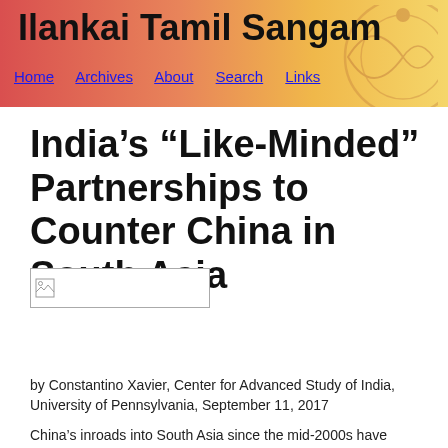Ilankai Tamil Sangam
Home   Archives   About   Search   Links
India's “Like-Minded” Partnerships to Counter China in South Asia
[Figure (other): Broken/missing image placeholder]
by Constantino Xavier, Center for Advanced Study of India, University of Pennsylvania, September 11, 2017
China’s inroads into South Asia since the mid-2000s have